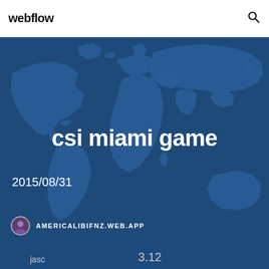webflow
csi miami game
2015/08/31
AMERICALIBIFNZ.WEB.APP
jasc  3.12
[Figure (map): World map in dark blue tones used as page background illustration]